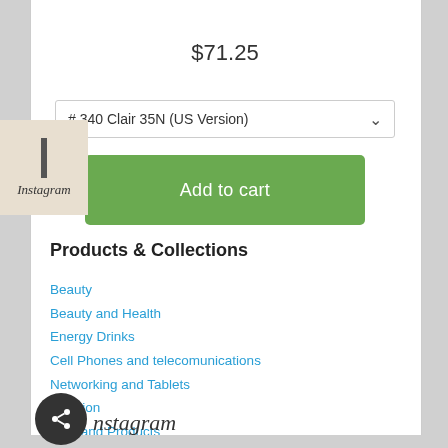$71.25
# 340 Clair 35N (US Version)
Add to cart
Products & Collections
Beauty
Beauty and Health
Energy Drinks
Cell Phones and telecomunications
Networking and Tablets
Nutrition
Pets and Products
Tablets and Readers
Virtual Goods
Watches
Weddings and Events
Instagram